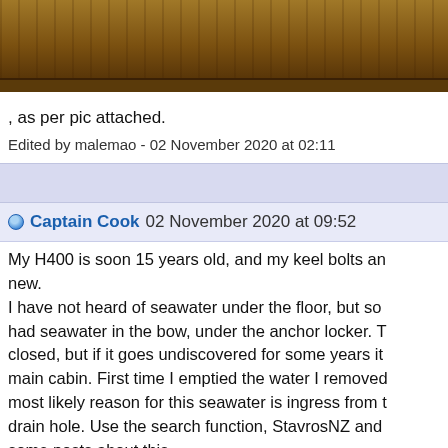[Figure (photo): Partial photo of wooden interior, cropped at top, showing brown wooden surface]
, as per pic attached.
Edited by malemao - 02 November 2020 at 02:11
Captain Cook  02 November 2020 at 09:52
My H400 is soon 15 years old, and my keel bolts an new. I have not heard of seawater under the floor, but som had seawater in the bow, under the anchor locker. T closed, but if it goes undiscovered for some years it main cabin. First time I emptied the water I removed most likely reason for this seawater is ingress from t drain hole. Use the search function, StavrosNZ and some posts about this.